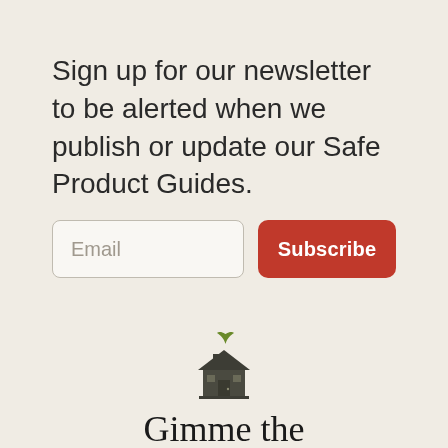Sign up for our newsletter to be alerted when we publish or update our Safe Product Guides.
Email
Subscribe
[Figure (logo): House icon with a small green leaf sprouting from the roof peak, rendered in dark gray/charcoal. Below the icon is the text 'Gimme the Good Stuff' in a serif font.]